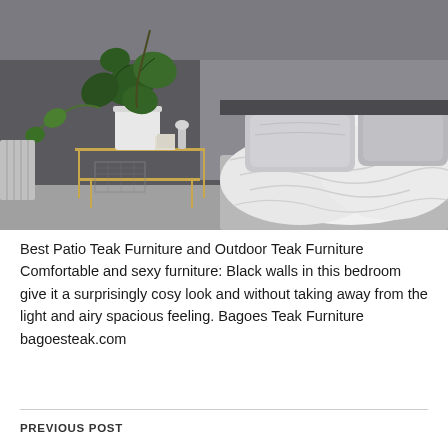[Figure (photo): A stylish bedroom with dark charcoal/black walls. On the left, a gold-framed side table with a large monstera plant in a white pot, smaller trailing plant, books, and a small lamp. On the right, a bed with white rumpled linen bedding and two grey pillows. The overall aesthetic is moody yet light and airy.]
Best Patio Teak Furniture and Outdoor Teak Furniture Comfortable and sexy furniture: Black walls in this bedroom give it a surprisingly cosy look and without taking away from the light and airy spacious feeling. Bagoes Teak Furniture bagoesteak.com
PREVIOUS POST